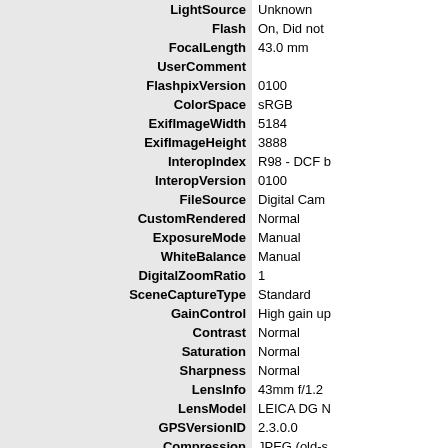| Key | Value |
| --- | --- |
| LightSource | Unknown |
| Flash | On, Did not |
| FocalLength | 43.0 mm |
| UserComment |  |
| FlashpixVersion | 0100 |
| ColorSpace | sRGB |
| ExifImageWidth | 5184 |
| ExifImageHeight | 3888 |
| InteropIndex | R98 - DCF b |
| InteropVersion | 0100 |
| FileSource | Digital Cam |
| CustomRendered | Normal |
| ExposureMode | Manual |
| WhiteBalance | Manual |
| DigitalZoomRatio | 1 |
| SceneCaptureType | Standard |
| GainControl | High gain up |
| Contrast | Normal |
| Saturation | Normal |
| Sharpness | Normal |
| LensInfo | 43mm f/1.2 |
| LensModel | LEICA DG N |
| GPSVersionID | 2.3.0.0 |
| Compression | JPEG (old-s |
| XResolution | 72 |
| YResolution | 72 |
| ResolutionUnit | inches |
| ThumbnailOffset | 20160 |
| ThumbnailLength | 574 |